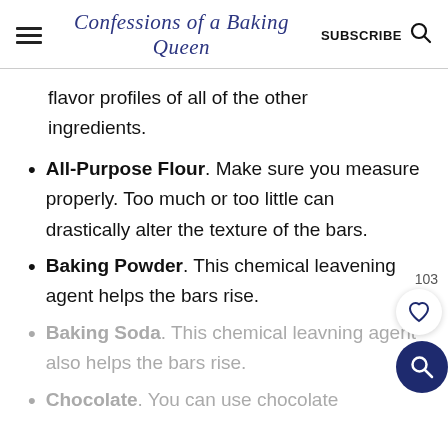Confessions of a Baking Queen  SUBSCRIBE
flavor profiles of all of the other ingredients.
All-Purpose Flour. Make sure you measure properly. Too much or too little can drastically alter the texture of the bars.
Baking Powder. This chemical leavening agent helps the bars rise.
Baking Soda. This chemical leavning agent also helps the bars rise.
Chocolate. You can use chocolate